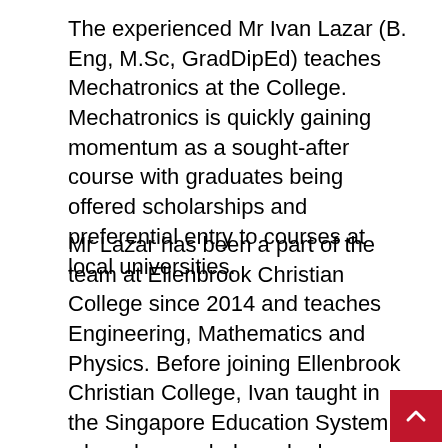The experienced Mr Ivan Lazar (B. Eng, M.Sc, GradDipEd) teaches Mechatronics at the College. Mechatronics is quickly gaining momentum as a sought-after course with graduates being offered scholarships and preferential entry to courses at local universities.
Mr Lazar has been a part of the team at Ellenbrook Christian College since 2014 and teaches Engineering, Mathematics and Physics. Before joining Ellenbrook Christian College, Ivan taught in the Singapore Education System, where he regularly ranked among the best by PISA and TIMSS. Before joining the Education system, Ivan racked up ten years of industrial experience in Singapore and the USA in final test and application in fields of Analogue, Mixed Signal and Radio